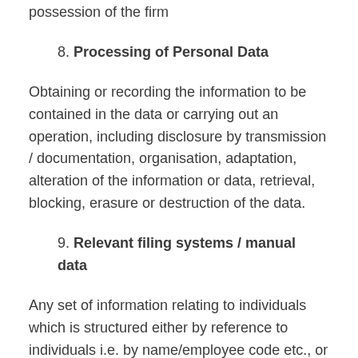possession of the firm
8. Processing of Personal Data
Obtaining or recording the information to be contained in the data or carrying out an operation, including disclosure by transmission / documentation, organisation, adaptation, alteration of the information or data, retrieval, blocking, erasure or destruction of the data.
9. Relevant filing systems / manual data
Any set of information relating to individuals which is structured either by reference to individuals i.e. by name/employee code etc., or by reference to criteria i.e. age job type, credit history etc. relating